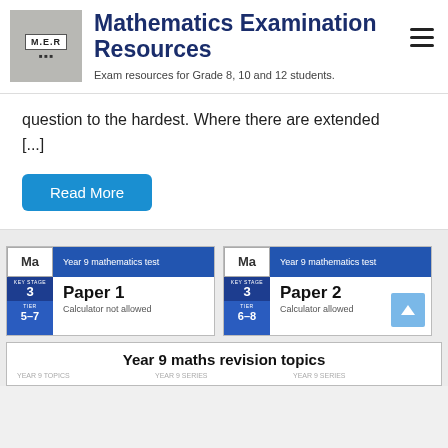[Figure (logo): M.E.R Mathematics Examination Resources logo image]
Mathematics Examination Resources
Exam resources for Grade 8, 10 and 12 students.
question to the hardest. Where there are extended [...]
Read More
[Figure (other): Year 9 mathematics test Paper 1 Calculator not allowed - Key Stage 3, Tier 5-7]
[Figure (other): Year 9 mathematics test Paper 2 Calculator allowed - Key Stage 3, Tier 6-8]
Year 9 maths revision topics